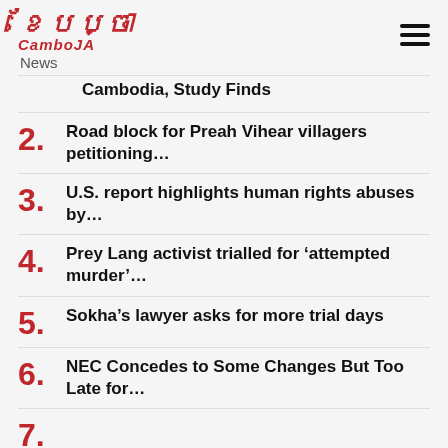CambojA News
Cambodia, Study Finds
2. Road block for Preah Vihear villagers petitioning…
3. U.S. report highlights human rights abuses by…
4. Prey Lang activist trialled for 'attempted murder'…
5. Sokha's lawyer asks for more trial days
6. NEC Concedes to Some Changes But Too Late for…
7. (partial, cut off)